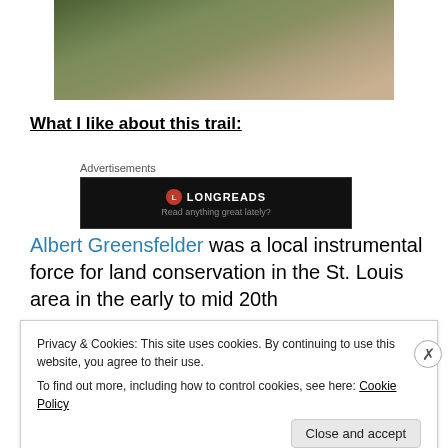[Figure (photo): A nature photo showing mossy rocks and a trail path on the ground, partially visible at the top of the page.]
What I like about this trail:
[Figure (screenshot): Advertisement banner showing Longreads logo (red circle with L) on a black background with text 'Read anything great lately?']
Albert Greensfelder was a local instrumental force for land conservation in the the St. Louis area in the early to mid 20th
Privacy & Cookies: This site uses cookies. By continuing to use this website, you agree to their use.
To find out more, including how to control cookies, see here: Cookie Policy
Close and accept